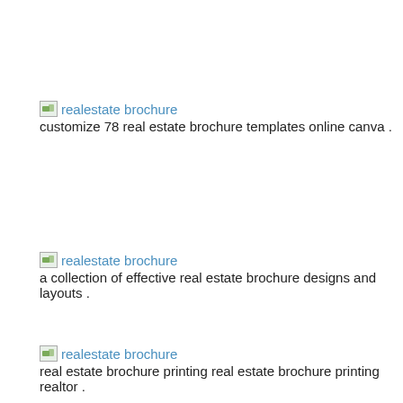[Figure (screenshot): Broken image icon placeholder for realestate brochure]
realestate brochure
customize 78 real estate brochure templates online canva .
[Figure (screenshot): Broken image icon placeholder for realestate brochure]
realestate brochure
a collection of effective real estate brochure designs and layouts .
[Figure (screenshot): Broken image icon placeholder for realestate brochure]
realestate brochure
real estate brochure printing real estate brochure printing realtor .